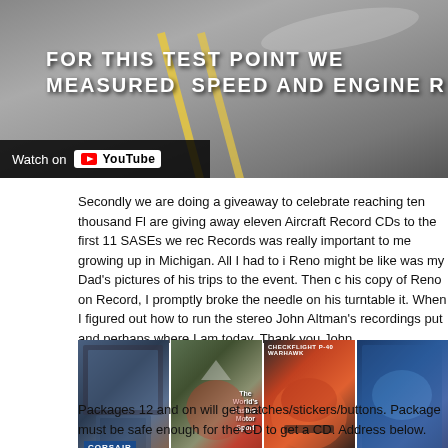[Figure (screenshot): YouTube video thumbnail showing a road/runway surface with text overlay: FOR THIS TEST POINT WE MEASURED SPEED AND ENGINE R, with a Watch on YouTube button overlay at bottom left]
Secondly we are doing a giveaway to celebrate reaching ten thousand Fl are giving away eleven Aircraft Record CDs to the first 11 SASEs we rec Records was really important to me growing up in Michigan. All I had to i Reno might be like was my Dad's pictures of his trips to the event. Then his copy of Reno on Record, I promptly broke the needle on his turntable it. When I figured out how to run the stereo John Altman's recordings put and perhaps where I am today. Thank you John.
[Figure (photo): Row of four aircraft record CD covers including CORSAIR and others, The World's Fastest Motor Sport, and CHECKFLIGHT P-40 WARHAWK]
Packages 12 and on will get patches/stickers/buttons. Package must be safe enough for the CD to get a CD. Address below.